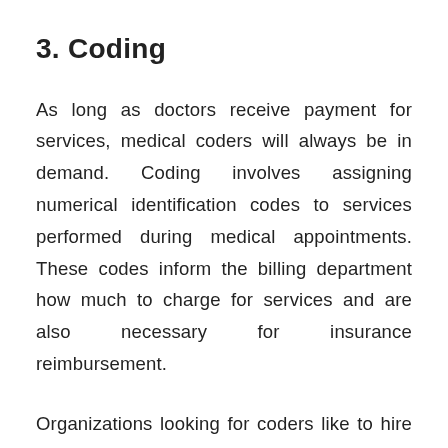3. Coding
As long as doctors receive payment for services, medical coders will always be in demand. Coding involves assigning numerical identification codes to services performed during medical appointments. These codes inform the billing department how much to charge for services and are also necessary for insurance reimbursement.
Organizations looking for coders like to hire people with medical transcription experience because they know that transcriptionists